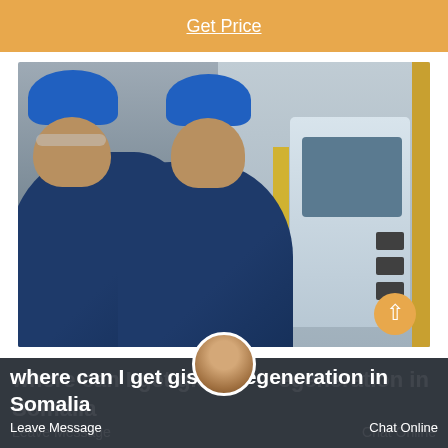Get Price
[Figure (photo): Two workers in blue uniforms and blue hard hats standing in an industrial facility next to a blue and white machine with a control panel/screen. Yellow safety stripe on the floor.]
where can I get giso egeneration in Somalia
Leave Message   Chat Online